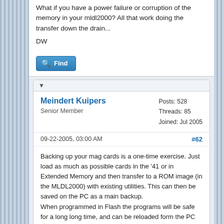What if you have a power failure or corruption of the memory in your mldl2000? All that work doing the transfer down the drain...
DW
[Figure (other): Find button with magnifying glass icon]
▼
Meindert Kuipers
Senior Member
Posts: 528
Threads: 85
Joined: Jul 2005
09-22-2005, 03:00 AM
#62
Backing up your mag cards is a one-time exercise. Just load as much as possible cards in the '41 or in Extended Memory and then transfer to a ROM image (in the MLDL2000) with existing utilities. This can then be saved on the PC as a main backup.
When programmed in Flash the programs will be safe for a long long time, and can be reloaded form the PC backup whenever you